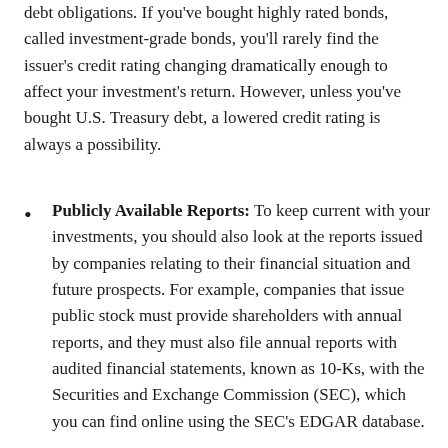debt obligations. If you've bought highly rated bonds, called investment-grade bonds, you'll rarely find the issuer's credit rating changing dramatically enough to affect your investment's return. However, unless you've bought U.S. Treasury debt, a lowered credit rating is always a possibility.
Publicly Available Reports: To keep current with your investments, you should also look at the reports issued by companies relating to their financial situation and future prospects. For example, companies that issue public stock must provide shareholders with annual reports, and they must also file annual reports with audited financial statements, known as 10-Ks, with the Securities and Exchange Commission (SEC), which you can find online using the SEC's EDGAR database.